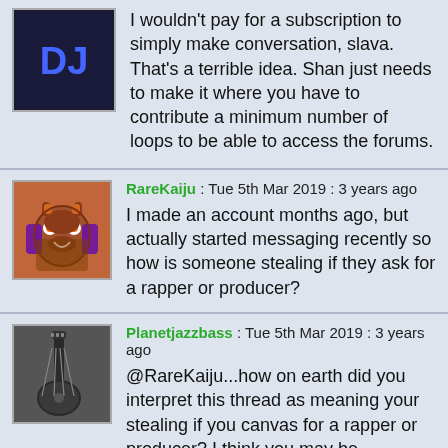I wouldn't pay for a subscription to simply make conversation, slava. That's a terrible idea. Shan just needs to make it where you have to contribute a minimum number of loops to be able to access the forums.
RareKaiju : Tue 5th Mar 2019 : 3 years ago
I made an account months ago, but actually started messaging recently so how is someone stealing if they ask for a rapper or producer?
Planetjazzbass : Tue 5th Mar 2019 : 3 years ago
@RareKaiju...how on earth did you interpret this thread as meaning your stealing if you canvas for a rapper or producer? I think you may be labouring under an inferiority complex